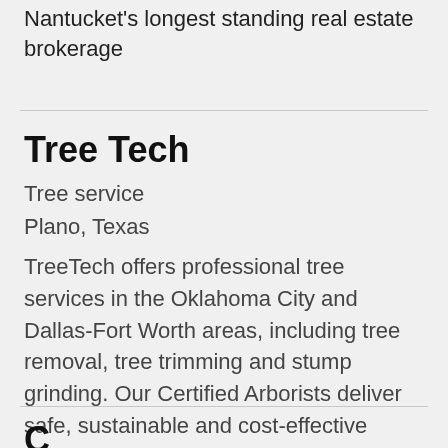Nantucket's longest standing real estate brokerage
Tree Tech
Tree service
Plano, Texas
TreeTech offers professional tree services in the Oklahoma City and Dallas-Fort Worth areas, including tree removal, tree trimming and stump grinding. Our Certified Arborists deliver safe, sustainable and cost-effective solutions for your growing landscap